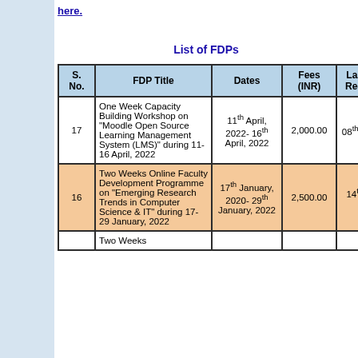here.
List of FDPs
| S. No. | FDP Title | Dates | Fees (INR) | Last date of Registration |
| --- | --- | --- | --- | --- |
| 17 | One Week Capacity Building Workshop on "Moodle Open Source Learning Management System (LMS)" during 11-16 April, 2022 | 11th April, 2022- 16th April, 2022 | 2,000.00 | 08th April, 2022 |
| 16 | Two Weeks Online Faculty Development Programme on "Emerging Research Trends in Computer Science & IT" during 17-29 January, 2022 | 17th January, 2020- 29th January, 2022 | 2,500.00 | 14th January, 2022 |
|  | Two Weeks |  |  |  |